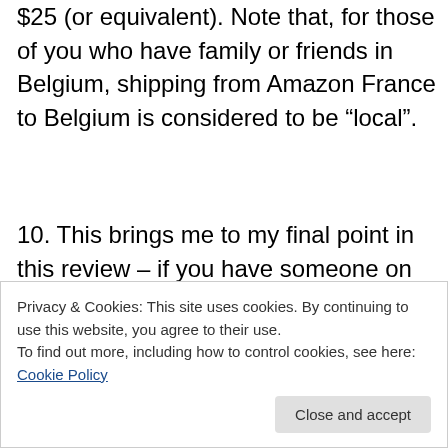$25 (or equivalent). Note that, for those of you who have family or friends in Belgium, shipping from Amazon France to Belgium is considered to be “local”.
10. This brings me to my final point in this review – if you have someone on the spot to whom you can send the books and have them brought to you to Israel, then Amazon with free local post is almost always your best bet, avoiding both shipping costs and customs!
11. Happy hunting
Privacy & Cookies: This site uses cookies. By continuing to use this website, you agree to their use.
To find out more, including how to control cookies, see here: Cookie Policy